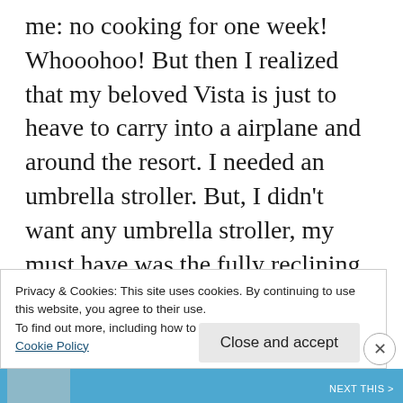me: no cooking for one week! Whooohoo! But then I realized that my beloved Vista is just to heave to carry into a airplane and around the resort. I needed an umbrella stroller. But, I didn't want any umbrella stroller, my must have was the fully reclining seat. I researched many brands and unfortunately there is only a hand full of strollers that have fully relining seats. This is really important if you planning to use an umbrella with a baby under 6 months old, you have too have FULLY RECLINING seat
Privacy & Cookies: This site uses cookies. By continuing to use this website, you agree to their use.
To find out more, including how to control cookies, see here: Cookie Policy
Close and accept